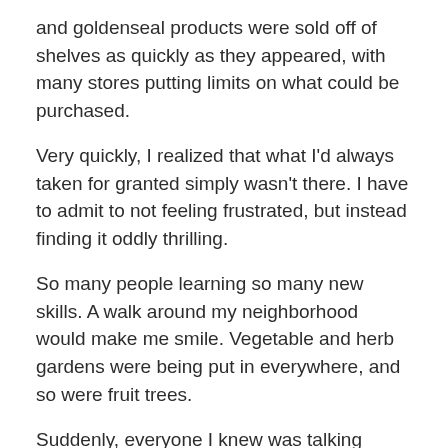and goldenseal products were sold off of shelves as quickly as they appeared, with many stores putting limits on what could be purchased.
Very quickly, I realized that what I'd always taken for granted simply wasn't there. I have to admit to not feeling frustrated, but instead finding it oddly thrilling.
So many people learning so many new skills. A walk around my neighborhood would make me smile. Vegetable and herb gardens were being put in everywhere, and so were fruit trees.
Suddenly, everyone I knew was talking about survival, honeybees, and sustainability.
I called my Herb Society of America friends, and we shared mason jars and seeds. We shared cuttings and